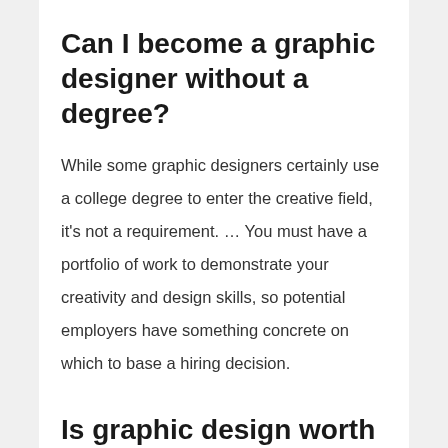Can I become a graphic designer without a degree?
While some graphic designers certainly use a college degree to enter the creative field, it’s not a requirement. … You must have a portfolio of work to demonstrate your creativity and design skills, so potential employers have something concrete on which to base a hiring decision.
Is graphic design worth it in 2021?